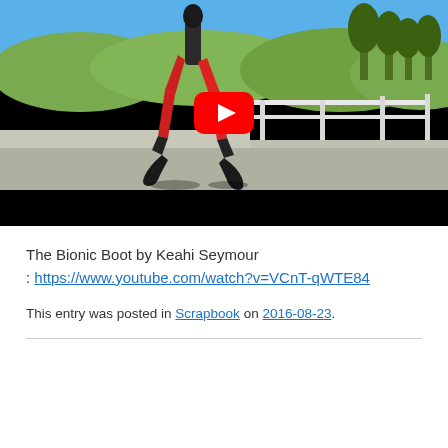[Figure (screenshot): YouTube video thumbnail showing a person wearing red and black bionic boots (exoskeleton-style leg attachments) walking outdoors near a railing with trees and hills in the background. A large red YouTube play button is overlaid in the center. The bottom portion of the thumbnail is a black letterbox bar.]
The Bionic Boot by Keahi Seymour
: https://www.youtube.com/watch?v=VCnT-qWTE84
This entry was posted in Scrapbook on 2016-08-23.